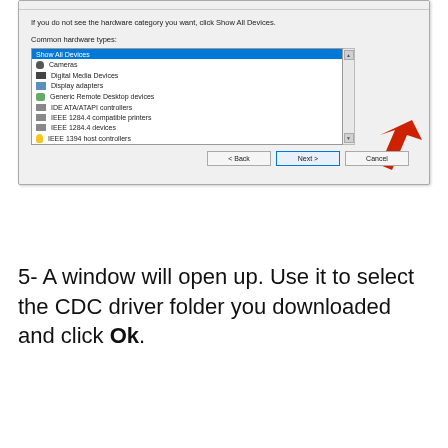[Figure (screenshot): Windows Add Hardware Wizard dialog showing a list of common hardware types. 'Show All Devices' is highlighted/selected in blue at the top of the list. Below it are: Cameras, Digital Media Devices, Display adapters, Generic Remote Desktop devices, IDE ATA/ATAPI controllers, IEEE 1284.4 compatible printers, IEEE 1284.4 devices, IEEE 1394 host controllers. A red arrow points to the 'Next >' button. Buttons shown: < Back, Next >, Cancel.]
5- A window will open up. Use it to select the CDC driver folder you downloaded and click Ok.